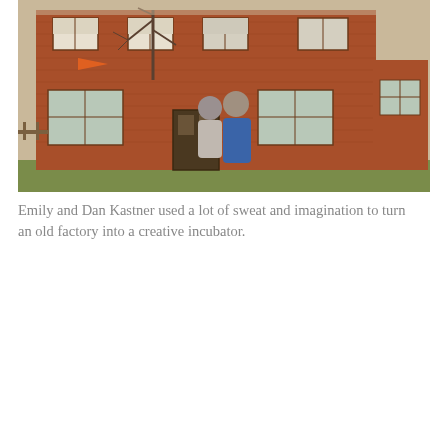[Figure (photo): Emily and Dan Kastner standing together in front of a two-story red brick building (old factory), bare trees visible, man wearing a blue hoodie, woman wearing a gray top and gray beanie hat with glasses, orange flag visible on left side of building.]
Emily and Dan Kastner used a lot of sweat and imagination to turn an old factory into a creative incubator.